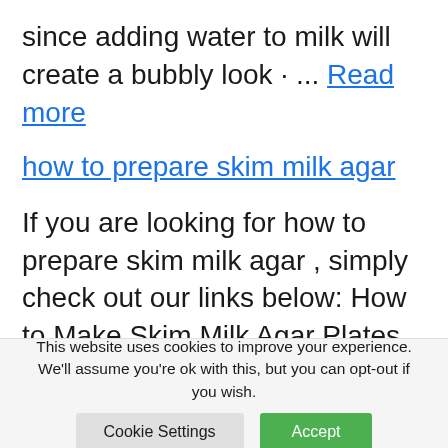since adding water to milk will create a bubbly look · ... Read more
how to prepare skim milk agar
If you are looking for how to prepare skim milk agar , simply check out our links below: How to Make Skim Milk Agar Plates 24 Apr 2017 ... Place a clean,dry watch glass on the scale and zero the scale. Measure out 5 g of skim milk powder. Transfer the powder from the stock   Read more
This website uses cookies to improve your experience. We'll assume you're ok with this, but you can opt-out if you wish.